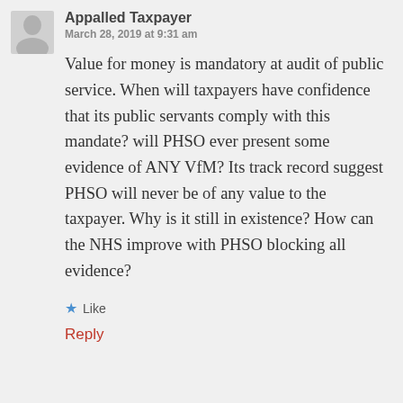Appalled Taxpayer
March 28, 2019 at 9:31 am
Value for money is mandatory at audit of public service. When will taxpayers have confidence that its public servants comply with this mandate? will PHSO ever present some evidence of ANY VfM? Its track record suggest PHSO will never be of any value to the taxpayer. Why is it still in existence? How can the NHS improve with PHSO blocking all evidence?
Like
Reply